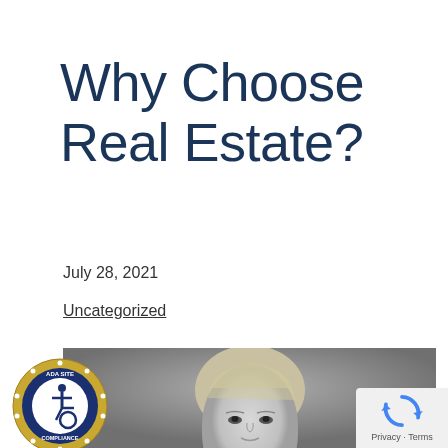Why Choose Real Estate?
July 28, 2021
Uncategorized
[Figure (photo): Black and white headshot photo of a young blonde woman looking at camera, cropped to show face and upper shoulders, against a grey background.]
[Figure (logo): ADA Site Compliance circular badge with wheelchair accessibility icon, gold border with stars, navy and white text.]
[Figure (logo): reCAPTCHA badge showing spinning arrows logo with Privacy and Terms text.]